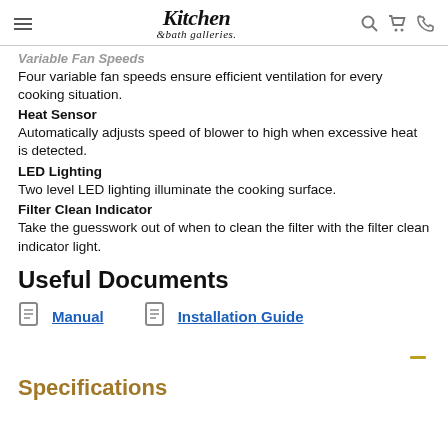Kitchen & bath galleries — navigation header
Variable Fan Speeds
Four variable fan speeds ensure efficient ventilation for every cooking situation.
Heat Sensor
Automatically adjusts speed of blower to high when excessive heat is detected.
LED Lighting
Two level LED lighting illuminate the cooking surface.
Filter Clean Indicator
Take the guesswork out of when to clean the filter with the filter clean indicator light.
Useful Documents
Manual
Installation Guide
Specifications